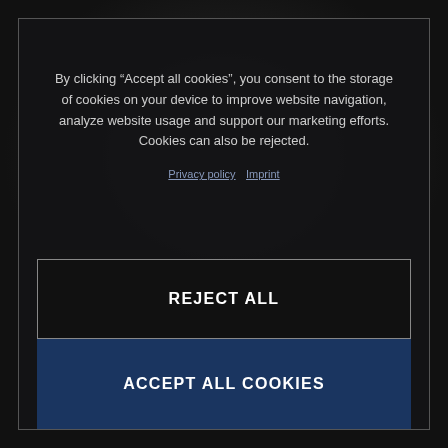[Figure (screenshot): Dark background with a blurred circular/badge image visible behind the cookie consent modal]
By clicking “Accept all cookies”, you consent to the storage of cookies on your device to improve website navigation, analyze website usage and support our marketing efforts. Cookies can also be rejected.
Privacy policy  Imprint
REJECT ALL
ACCEPT ALL COOKIES